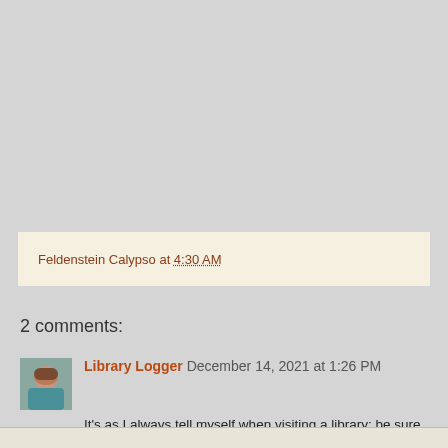Feldenstein Calypso at 4:30 AM
2 comments:
[Figure (photo): Small avatar photo of Library Logger commenter, showing a person with short hair wearing a teal/green top]
Library Logger December 14, 2021 at 1:26 PM
It's as I always tell myself when visiting a library: be sure to look UP, there's often something to see.
Reply